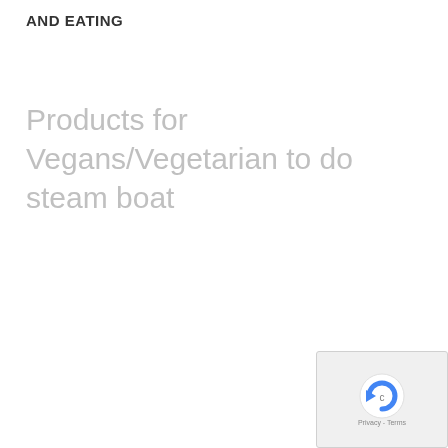AND EATING
Products for Vegans/Vegetarian to do steam boat
[Figure (logo): reCAPTCHA widget with spinning arrow logo and 'Privacy - Terms' text at the bottom right corner of the page]